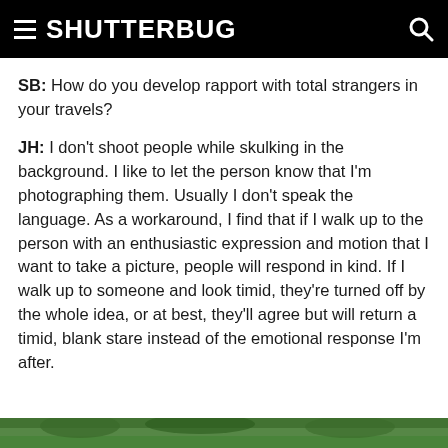SHUTTERBUG
SB: How do you develop rapport with total strangers in your travels?
JH: I don't shoot people while skulking in the background. I like to let the person know that I'm photographing them. Usually I don't speak the language. As a workaround, I find that if I walk up to the person with an enthusiastic expression and motion that I want to take a picture, people will respond in kind. If I walk up to someone and look timid, they're turned off by the whole idea, or at best, they'll agree but will return a timid, blank stare instead of the emotional response I'm after.
[Figure (photo): Green outdoor scene visible at the bottom of the page]